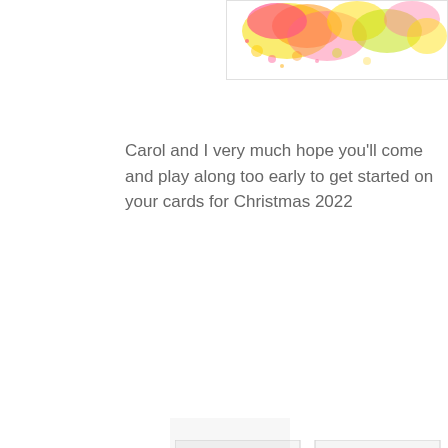[Figure (photo): Colorful floral watercolor image partially visible at top right corner, with bright pink, yellow, orange and green splashes of color]
Carol and I very much hope you'll come and play along too early to get started on your cards for Christmas 2022
[Figure (photo): Two partially visible card images side by side showing dark/muted artistic designs, cropped at edges]
[Figure (photo): Partially visible image at bottom of page, very faint/light]